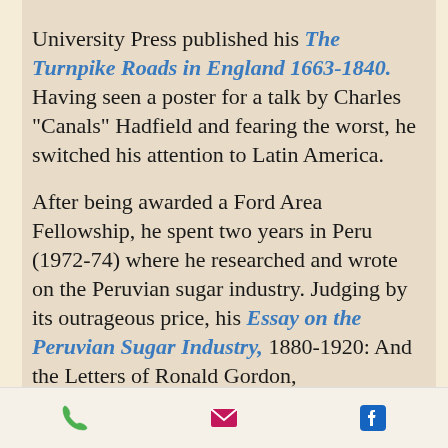University Press published his The Turnpike Roads in England 1663-1840. Having seen a poster for a talk by Charles "Canals" Hadfield and fearing the worst, he switched his attention to Latin America.

After being awarded a Ford Area Fellowship, he spent two years in Peru (1972-74) where he researched and wrote on the Peruvian sugar industry. Judging by its outrageous price, his Essay on the Peruvian Sugar Industry, 1880-1920: And the Letters of Ronald Gordon, Administrator of the
[phone] [email] [facebook]